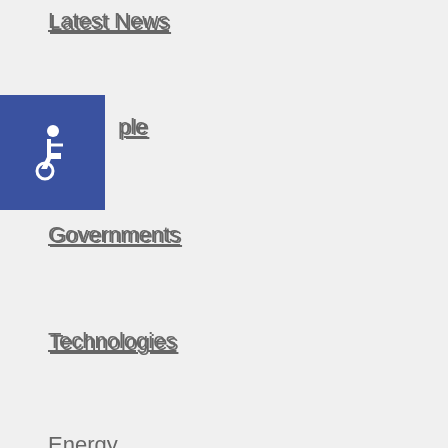Latest News
ple
[Figure (illustration): Blue accessibility icon with wheelchair symbol]
Governments
Technologies
Energy
RESEARCH
Business dictionary
Innovation dictionary
Wellbeing guides